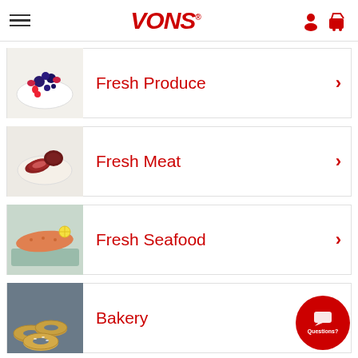VONS
Fresh Produce
Fresh Meat
Fresh Seafood
Bakery